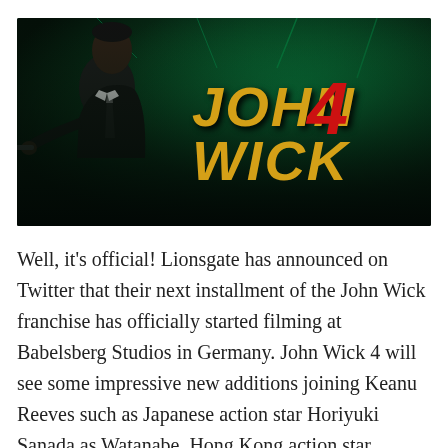[Figure (photo): Movie promotional image for John Wick 4. A man in a dark suit pointing a gun toward the camera on a green-tinted dramatic background. The title 'JOHN 4 WICK' is displayed in large gold and red stylized text on the right side.]
Well, it's official! Lionsgate has announced on Twitter that their next installment of the John Wick franchise has officially started filming at Babelsberg Studios in Germany. John Wick 4 will see some impressive new additions joining Keanu Reeves such as Japanese action star Horiyuki Sanada as Watanabe, Hong Kong action star Donnie Yen playing Wick's
Continue reading →